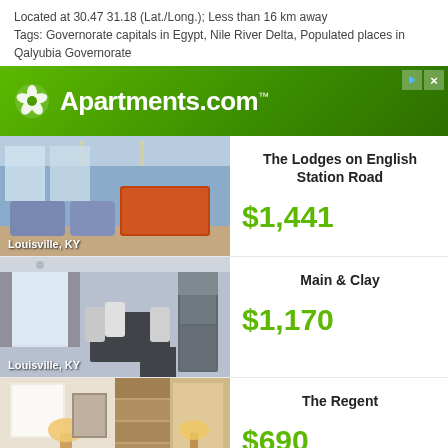Located at 30.47 31.18 (Lat./Long.); Less than 16 km away
Tags: Governorate capitals in Egypt, Nile River Delta, Populated places in Qalyubia Governorate
[Figure (screenshot): Apartments.com advertisement banner with green gradient background, white logo and brand name]
[Figure (photo): Interior photo of The Lodges on English Station Road apartment, Louisville KY - communal lounge area with sofas and pool table]
The Lodges on English Station Road
$1,441
[Figure (photo): Interior photo of Main & Clay apartment, Louisville KY - kitchen and dining area]
Main & Clay
$1,170
[Figure (photo): Interior photos of The Regent apartment - living room and bedroom/office area]
The Regent
$690